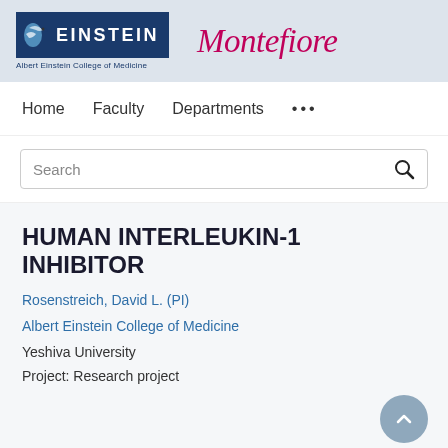[Figure (logo): Albert Einstein College of Medicine logo with blue background and stylized bird icon, and Montefiore logo in pink/magenta italic serif font]
Home   Faculty   Departments   ...
Search
HUMAN INTERLEUKIN-1 INHIBITOR
Rosenstreich, David L. (PI)
Albert Einstein College of Medicine
Yeshiva University
Project: Research project